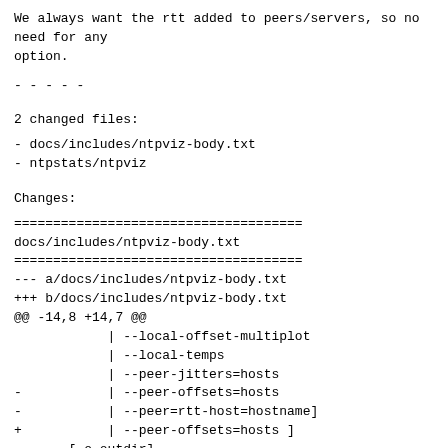We always want the rtt added to peers/servers, so no
need for any
option.
- - - - -
2 changed files:
- docs/includes/ntpviz-body.txt
- ntpstats/ntpviz
Changes:
=====================================
docs/includes/ntpviz-body.txt
=====================================
--- a/docs/includes/ntpviz-body.txt
+++ b/docs/includes/ntpviz-body.txt
@@ -14,8 +14,7 @@
             | --local-offset-multiplot
             | --local-temps
             | --peer-jitters=hosts
-            | --peer-offsets=hosts
-            | --peer=rtt-host=hostname]
+            | --peer-offsets=hosts ]
        [-o outdir]
        [-D N] [-N]